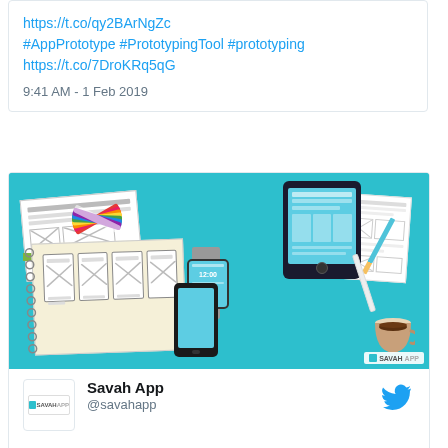https://t.co/qy2BArNgZc #AppPrototype #PrototypingTool #prototyping https://t.co/7DroKRq5qG
9:41 AM - 1 Feb 2019
[Figure (illustration): Illustration showing app prototyping tools: wireframe sketches on paper, color swatches fan, tablet device, smartwatch, smartphone, pencil, pen, and coffee cup on a teal background. Savah App logo at bottom right.]
Savah App @savahapp
Now you can quickly build an interactive high-